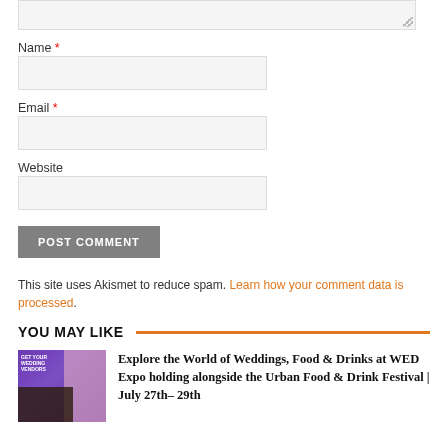Name *
Email *
Website
POST COMMENT
This site uses Akismet to reduce spam. Learn how your comment data is processed.
YOU MAY LIKE
Explore the World of Weddings, Food & Drinks at WED Expo holding alongside the Urban Food & Drink Festival | July 27th– 29th